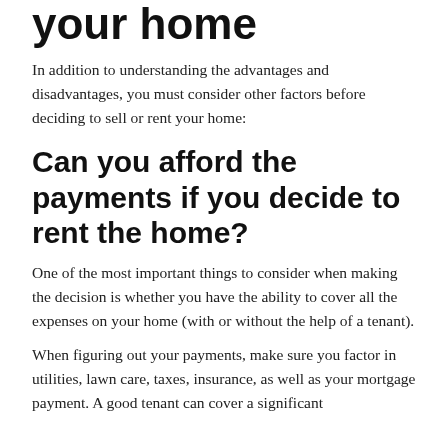your home
In addition to understanding the advantages and disadvantages, you must consider other factors before deciding to sell or rent your home:
Can you afford the payments if you decide to rent the home?
One of the most important things to consider when making the decision is whether you have the ability to cover all the expenses on your home (with or without the help of a tenant).
When figuring out your payments, make sure you factor in utilities, lawn care, taxes, insurance, as well as your mortgage payment. A good tenant can cover a significant